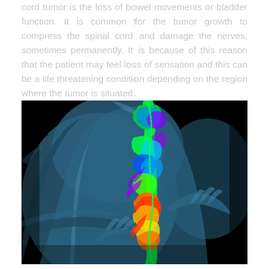cord tumor is the loss of bowel movements or bladder function. It is common for the tumor growth to compress the spinal cord and damage the nerves, sometimes permanently. It is because of this reason that the patient may feel loss of sensation and this can be a life threatening condition depending on the region where the tumor is situated.
[Figure (photo): Medical illustration showing a human torso (blue-toned) with hands gripping the lower back area. The spine is highlighted with a colorful thermal/pain visualization overlay showing greens, blues, purples, reds, oranges and yellows along the vertebral column, indicating spinal pain or inflammation. Background is black.]